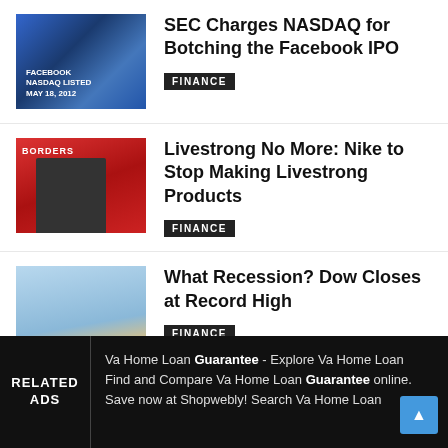[Figure (photo): NASDAQ building with Facebook IPO signage showing 'MAY 18, 2012']
SEC Charges NASDAQ for Botching the Facebook IPO
FINANCE
[Figure (photo): Person in black hat in front of red Borders store backdrop]
Livestrong No More: Nike to Stop Making Livestrong Products
FINANCE
[Figure (photo): Bronze bull statue in front of a building]
What Recession? Dow Closes at Record High
FINANCE
SEC Charges institutional…
RELATED ADS
Va Home Loan Guarantee - Explore Va Home Loan Find and Compare Va Home Loan Guarantee online. Save now at Shopwebly! Search Va Home Loan